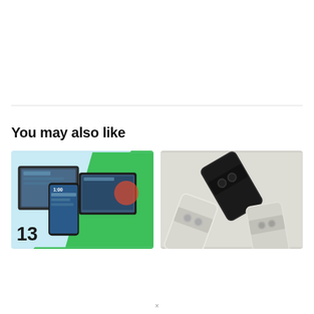You may also like
[Figure (photo): Android 13 devices including tablets and phones displayed on a light blue and green background with '13' text visible]
[Figure (photo): Google Pixel phones in dark and light colors arranged on a white surface, showing backs of devices with camera modules]